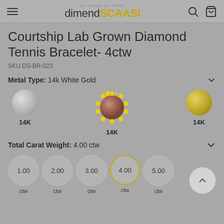dimendSCAASI - 25+ Years of Trust
Courtship Lab Grown Diamond Tennis Bracelet- 4ctw
SKU DS-BR-023
Metal Type: 14k White Gold
[Figure (other): Three metal type swatches: white gold (left), rose gold with spinner (center, selected), yellow gold (right), each labeled 14K]
Total Carat Weight: 4.00 ctw
[Figure (other): Carat weight selector buttons: 1.00, 2.00, 3.00, 4.00 (selected with gold border), 5.00 — each labeled ctw below]